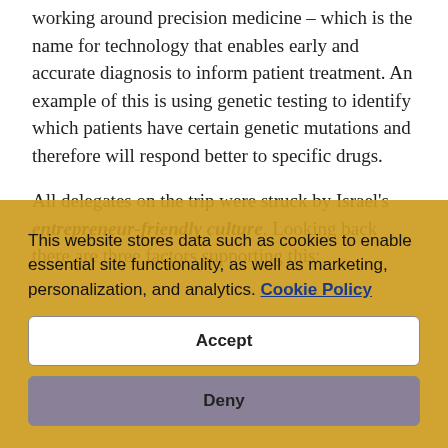working around precision medicine – which is the name for technology that enables early and accurate diagnosis to inform patient treatment. An example of this is using genetic testing to identify which patients have certain genetic mutations and therefore will respond better to specific drugs.
All delegates on the trip were struck by Israel's entrepreneur-friendly culture. Looking back there are three factors supporting this:
Attitude to risk: in Israel, risk is seen a fact of life …
This website stores data such as cookies to enable essential site functionality, as well as marketing, personalization, and analytics. Cookie Policy
Accept
Deny